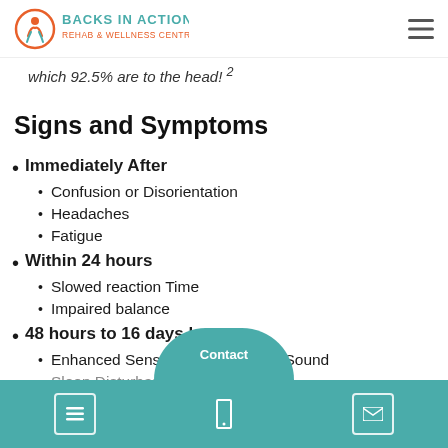Backs In Action Rehab & Wellness Centre
which 92.5% are to the head! ²
Signs and Symptoms
Immediately After
Confusion or Disorientation
Headaches
Fatigue
Within 24 hours
Slowed reaction Time
Impaired balance
48 hours to 16 days later
Enhanced Sensitivity to Light and Sound
Sleep Disturbance (mainly for the first week)